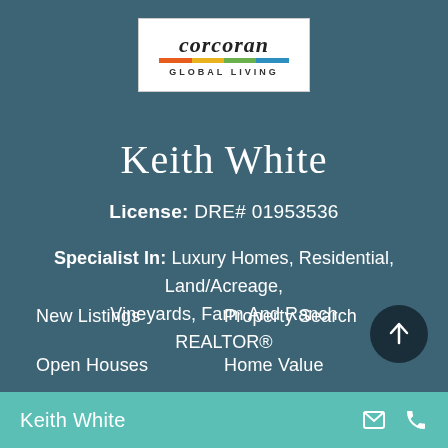[Figure (logo): Corcoran Global Living logo with multicolor stripe]
Keith White
License: DRE# 01953536
Specialist In: Luxury Homes, Residential, Land/Acreage, Vineyards, Farm And Ranch
REALTOR®
New Listings
Property Search
Open Houses
Home Value
Rental Properties
Contact
Keith White